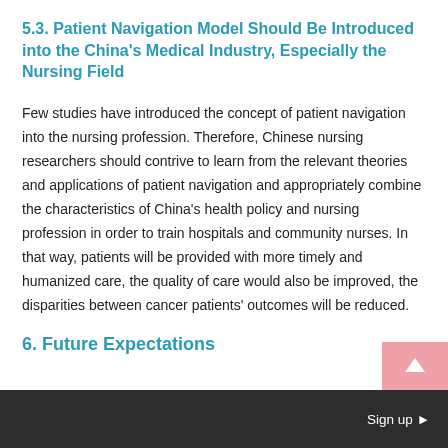5.3. Patient Navigation Model Should Be Introduced into the China's Medical Industry, Especially the Nursing Field
Few studies have introduced the concept of patient navigation into the nursing profession. Therefore, Chinese nursing researchers should contrive to learn from the relevant theories and applications of patient navigation and appropriately combine the characteristics of China's health policy and nursing profession in order to train hospitals and community nurses. In that way, patients will be provided with more timely and humanized care, the quality of care would also be improved, the disparities between cancer patients' outcomes will be reduced.
6. Future Expectations
Sign up ▶